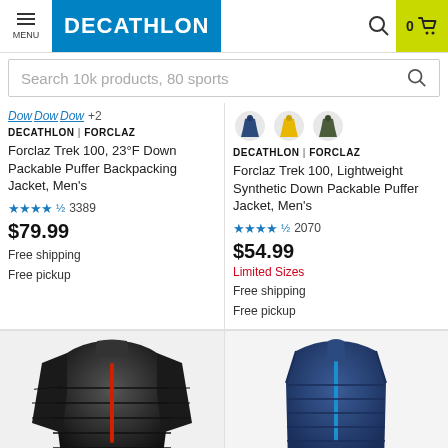[Figure (screenshot): Decathlon website header with menu button, Decathlon logo in blue, search icon, and cart (0) with yellow-green background]
Search 10k products, 80 sports
Dow Dow Dow +2
[Figure (illustration): Three color swatches of down jackets: dark blue, yellow, and olive/dark green]
DECATHLON | FORCLAZ
Forclaz Trek 100, 23°F Down Packable Puffer Backpacking Jacket, Men's
★★★★½ 3389
$79.99
Free shipping
Free pickup
DECATHLON | FORCLAZ
Forclaz Trek 100, Lightweight Synthetic Down Packable Puffer Jacket, Men's
★★★★½ 2070
$54.99
Limited Sizes
Free shipping
Free pickup
[Figure (photo): Black down puffer jacket with red zipper accent]
[Figure (photo): Navy blue down vest/gilet with blue zipper]